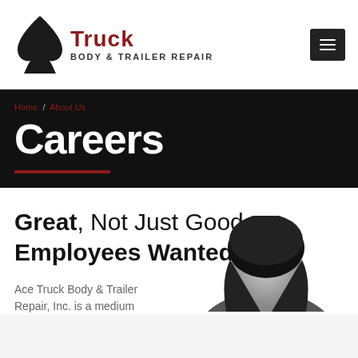[Figure (logo): Ace Truck Body & Trailer Repair logo with spade icon]
Home / About Us
Careers
Great, Not Just Good Employees Wanted!
Ace Truck Body & Trailer Repair, Inc. is a medium
[Figure (photo): Black and white photo of a person with dark hair]